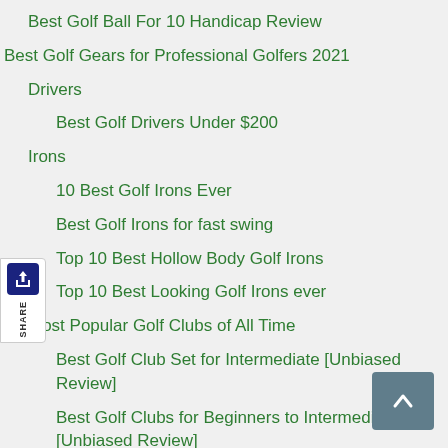Best Golf Ball For 10 Handicap Review
Best Golf Gears for Professional Golfers 2021
Drivers
Best Golf Drivers Under $200
Irons
10 Best Golf Irons Ever
Best Golf Irons for fast swing
Top 10 Best Hollow Body Golf Irons
Top 10 Best Looking Golf Irons ever
Most Popular Golf Clubs of All Time
Best Golf Club Set for Intermediate [Unbiased Review]
Best Golf Clubs for Beginners to Intermediate [Unbiased Review]